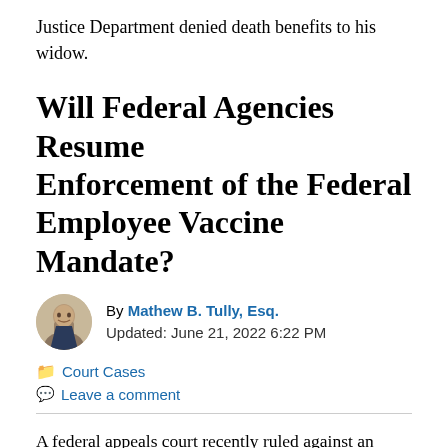Justice Department denied death benefits to his widow.
Will Federal Agencies Resume Enforcement of the Federal Employee Vaccine Mandate?
By Mathew B. Tully, Esq. Updated: June 21, 2022 6:22 PM
Court Cases
Leave a comment
A federal appeals court recently ruled against an injunction of the federal employee vaccine mandate. Does this mean enforcement will